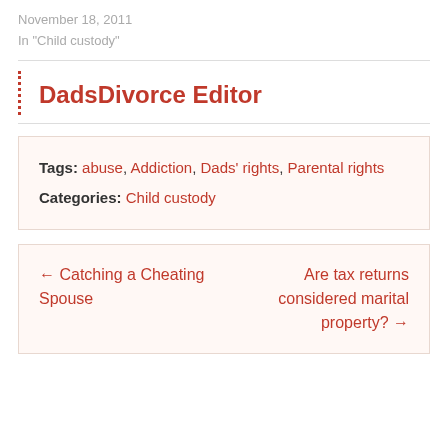November 18, 2011
In "Child custody"
DadsDivorce Editor
Tags: abuse, Addiction, Dads' rights, Parental rights
Categories: Child custody
← Catching a Cheating Spouse    Are tax returns considered marital property? →